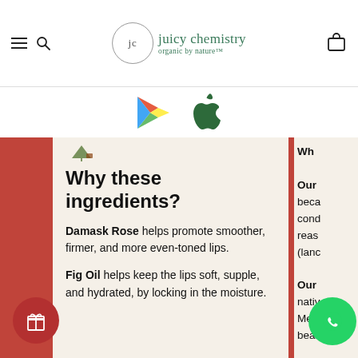juicy chemistry — organic by nature
[Figure (logo): Juicy Chemistry logo with circular border containing 'jc', brand name and tagline 'organic by nature']
[Figure (infographic): Google Play Store and Apple App Store icons]
Why these ingredients?
Damask Rose helps promote smoother, firmer, and more even-toned lips.
Fig Oil helps keep the lips soft, supple, and hydrated, by locking in the moisture.
Wh Our beca cond reas (lanc Our nativ Medi beau